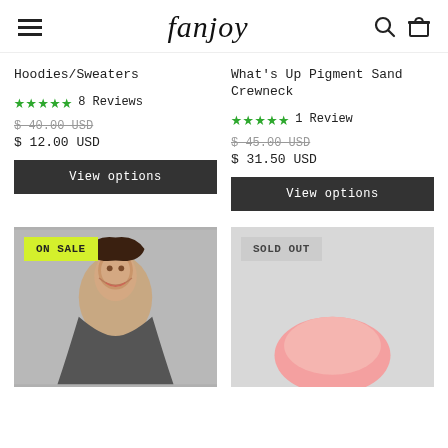fanjoy — navigation header with hamburger menu, logo, search and bag icons
Hoodies/Sweaters
★★★★★ 8 Reviews
$ 40.00 USD (original)
$ 12.00 USD
View options
What's Up Pigment Sand Crewneck
★★★★★ 1 Review
$ 45.00 USD (original)
$ 31.50 USD
View options
[Figure (photo): Product photo of woman wearing hoodie/sweatshirt, with ON SALE badge]
[Figure (photo): Product photo with SOLD OUT badge, pink item visible at bottom]